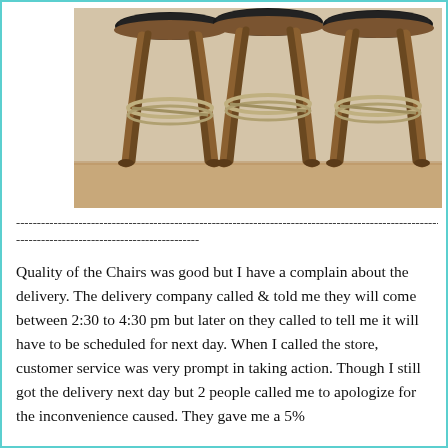[Figure (photo): Photograph of three brown wooden bar stools with black padded seats and chrome circular footrests, standing on a light tan floor against a beige wall.]
---------------------------------------------------------------------------------------------------------------------------- -------------------------------------------- Quality of the Chairs was good but I have a complain about the delivery. The delivery company called & told me they will come between 2:30 to 4:30 pm but later on they called to tell me it will have to be scheduled for next day. When I called the store, customer service was very prompt in taking action. Though I still got the delivery next day but 2 people called me to apologize for the inconvenience caused. They gave me a 5%